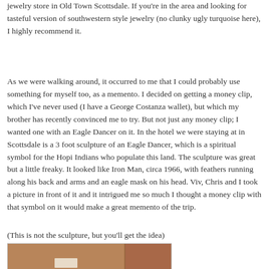jewelry store in Old Town Scottsdale. If you're in the area and looking for tasteful version of southwestern style jewelry (no clunky ugly turquoise here), I highly recommend it.
As we were walking around, it occurred to me that I could probably use something for myself too, as a memento. I decided on getting a money clip, which I've never used (I have a George Costanza wallet), but which my brother has recently convinced me to try. But not just any money clip; I wanted one with an Eagle Dancer on it. In the hotel we were staying at in Scottsdale is a 3 foot sculpture of an Eagle Dancer, which is a spiritual symbol for the Hopi Indians who populate this land. The sculpture was great but a little freaky. It looked like Iron Man, circa 1966, with feathers running along his back and arms and an eagle mask on his head. Viv, Chris and I took a picture in front of it and it intrigued me so much I thought a money clip with that symbol on it would make a great memento of the trip.
(This is not the sculpture, but you'll get the idea)
[Figure (photo): Partial view of a photo showing what appears to be an interior room or hallway with reddish-brown walls and a small figure or sculpture visible.]